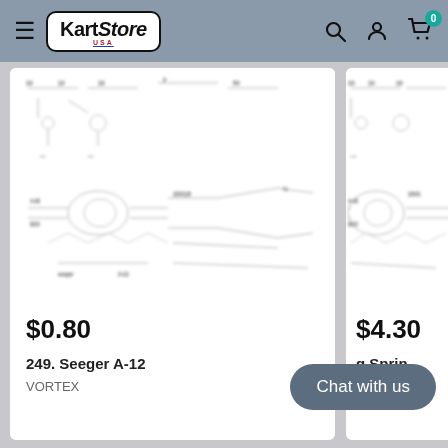KartStore USA — navigation header with search, user, and cart icons
[Figure (schematic): Blurred engineering/parts schematic diagram for kart component — left product card]
$0.80
249. Seeger A-12
VORTEX
[Figure (schematic): Blurred engineering/parts schematic diagram for kart component — right product card (partially visible)]
$4.30
g Sprin
Chat with us